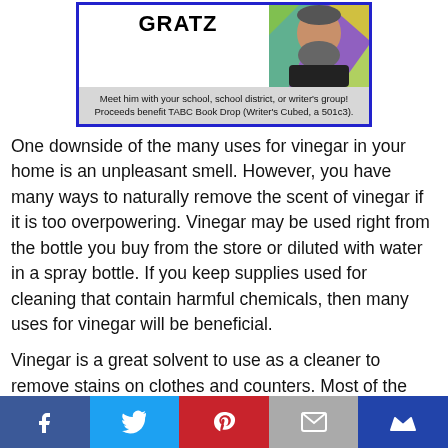[Figure (illustration): Promotional box with border for Alan Gratz author visit. Shows the name GRATZ in bold, a photo of a bearded man with colorful geometric background, and caption text about meeting him with school or writer's group. Proceeds benefit TABC Book Drop.]
Meet him with your school, school district, or writer's group! Proceeds benefit TABC Book Drop (Writer's Cubed, a 501c3).
One downside of the many uses for vinegar in your home is an unpleasant smell. However, you have many ways to naturally remove the scent of vinegar if it is too overpowering. Vinegar may be used right from the bottle you buy from the store or diluted with water in a spray bottle. If you keep supplies used for cleaning that contain harmful chemicals, then many uses for vinegar will be beneficial.
Vinegar is a great solvent to use as a cleaner to remove stains on clothes and counters. Most of the uses for vinegar around the home mean you can easily save money by not buying cleaners at the store. Your home will also be less
[Figure (other): Social share bar with Facebook, Twitter, Pinterest, Email, and crown/bookmark icons on colored backgrounds.]